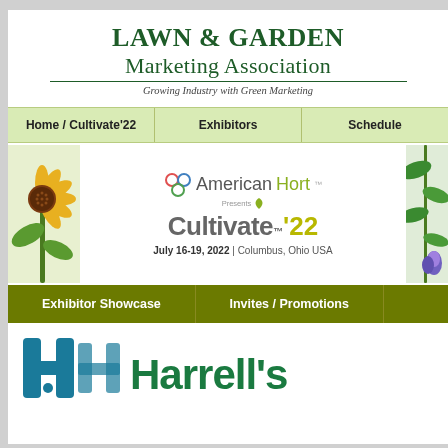LAWN & GARDEN Marketing Association
Growing Industry with Green Marketing
Home / Cultivate'22 | Exhibitors | Schedule
[Figure (logo): AmericanHort presents Cultivate'22 banner with sunflower and leaf decorations. July 16-19, 2022 | Columbus, Ohio USA]
Exhibitor Showcase | Invites / Promotions
[Figure (logo): Harrell's company logo with teal H icon and green Harrell's text]